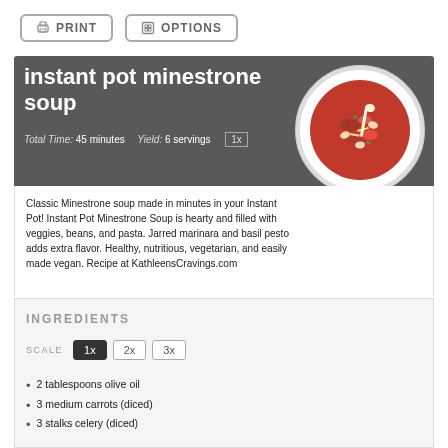PRINT  OPTIONS
instant pot minestrone soup
Total Time: 45 minutes   Yield: 6 servings  1x
[Figure (photo): Top-down photo of a bowl of minestrone soup with red tomato broth, vegetables, beans, and pasta on a white plate with a spoon.]
Classic Minestrone soup made in minutes in your Instant Pot! Instant Pot Minestrone Soup is hearty and filled with veggies, beans, and pasta. Jarred marinara and basil pesto adds extra flavor. Healthy, nutritious, vegetarian, and easily made vegan. Recipe at KathleensCravings.com
INGREDIENTS
SCALE  1x  2x  3x
2 tablespoons olive oil
3 medium carrots (diced)
3 stalks celery (diced)